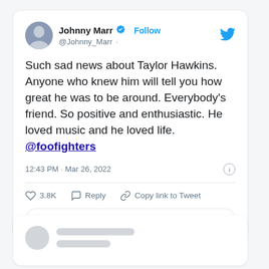[Figure (screenshot): Twitter/X tweet card from Johnny Marr (@Johnny_Marr) with verified badge and Follow button. Tweet text: 'Such sad news about Taylor Hawkins. Anyone who knew him will tell you how great he was to be around. Everybody's friend. So positive and enthusiastic. He loved music and he loved life. @foofighters'. Timestamp: 12:43 PM · Mar 26, 2022. Likes: 3.8K. Actions: Reply, Copy link to Tweet. Read 20 replies button. Below is a partially visible blurred second tweet card.]